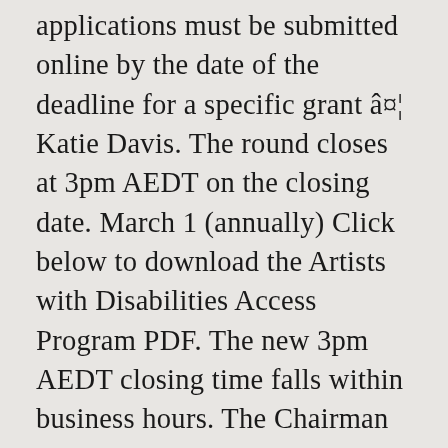applications must be submitted online by the date of the deadline for a specific grant â¤¦ Katie Davis. The round closes at 3pm AEDT on the closing date. March 1 (annually) Click below to download the Artists with Disabilities Access Program PDF. The new 3pm AEDT closing time falls within business hours. The Chairman reviews the recommendations for grants in all funding categories and makes the final decision on all grant awards. After processing by our staff, applications are reviewed, in closed session, by advisory panelists. 2021, 2023): choreography, criticism, fiction/non-fiction, music composition, playwriting/screenplays,